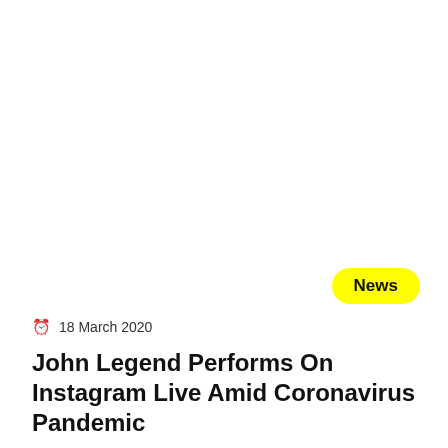News
18 March 2020
John Legend Performs On Instagram Live Amid Coronavirus Pandemic